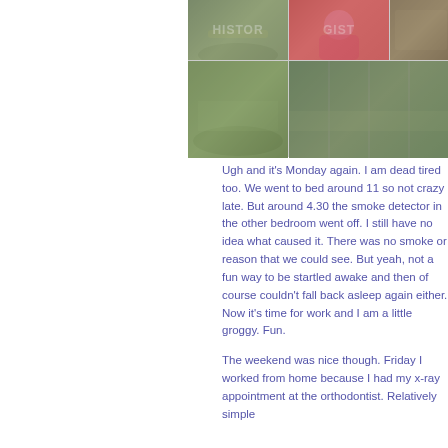[Figure (photo): A collage of four outdoor photos: top-left shows a wooded rocky path, top-center shows a woman with red hair in a red jacket, top-right shows rocky terrain, bottom-left shows a grassy mossy area, bottom-right shows a rocky stream or path scene with fence posts. A 'HISTOR' watermark overlays the top portion.]
Ugh and it's Monday again. I am dead tired too. We went to bed around 11 so not crazy late. But around 4.30 the smoke detector in the other bedroom went off. I still have no idea what caused it. There was no smoke or reason that we could see. But yeah, not a fun way to be startled awake and then of course couldn't fall back asleep again either. Now it's time for work and I am a little groggy. Fun.
The weekend was nice though. Friday I worked from home because I had my x-ray appointment at the orthodontist. Relatively simple